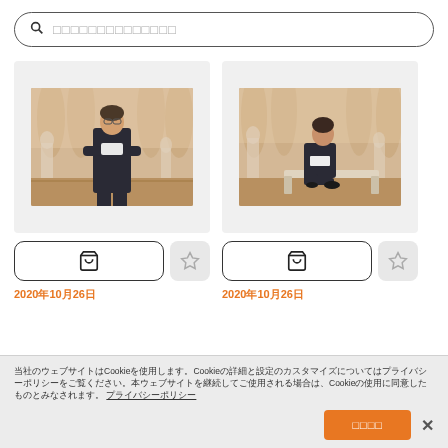[Figure (screenshot): Search bar with magnifying glass icon and Japanese placeholder text]
[Figure (photo): Museum interior photo showing a man in a dark suit standing with arms crossed among classical sculptures]
[Figure (photo): Museum interior photo showing a man in a dark suit sitting on a bench among classical sculptures]
2020年10月26日
2020年10月26日
当社のウェブサイトはCookieを使用します。Cookieの詳細と設定のカスタマイズについてはプライバシーポリシーをご覧ください。本ウェブサイトを継続してご使用される場合は、Cookieの使用に同意したものとみなされます。 プライバシーポリシー